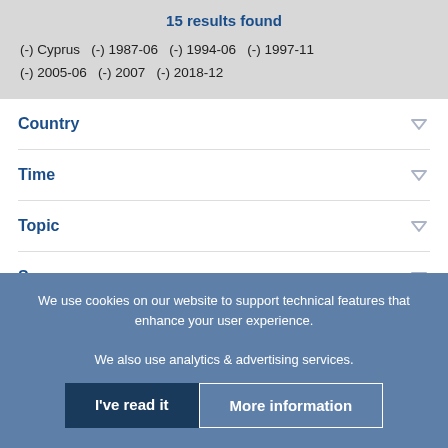15 results found
(-) Cyprus  (-) 1987-06  (-) 1994-06  (-) 1997-11
(-) 2005-06  (-) 2007  (-) 2018-12
Country
Time
Topic
Source
JEL Code
We use cookies on our website to support technical features that enhance your user experience.
We also use analytics & advertising services.
I've read it
More information